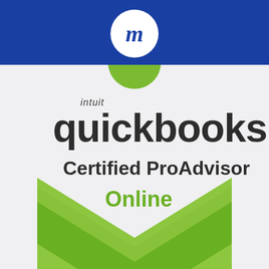[Figure (logo): MCDA CCG, Inc. company logo with blue header bar, hamburger menu icon, circular 'm' logo, company name and tagline 'Business Transformation Experts']
[Figure (logo): Intuit QuickBooks Certified ProAdvisor Online badge — shield/chevron shape in light gray with green bottom chevrons, displaying 'intuit quickbooks. Certified ProAdvisor Online' text]